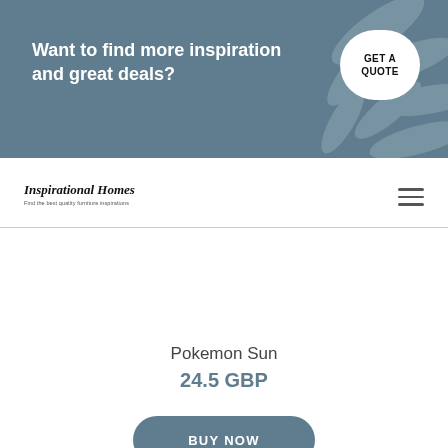Want to find more inspiration and great deals?
GET A QUOTE
[Figure (logo): Inspirational Homes logo with italic serif text and tagline 'Find the best quality furniture inspirations']
[Figure (other): Hamburger menu icon with three horizontal lines]
Pokemon Sun
24.5 GBP
BUY NOW